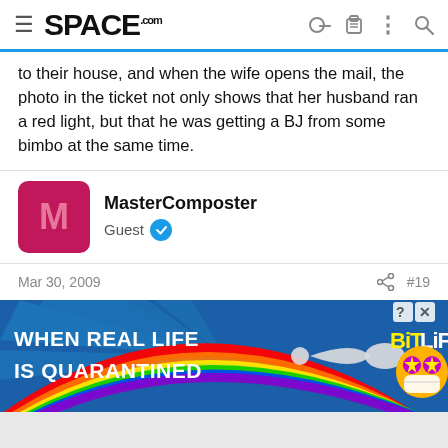SPACE.com
to their house, and when the wife opens the mail, the photo in the ticket not only shows that her husband ran a red light, but that he was getting a BJ from some bimbo at the same time.
MasterComposter
Guest
Mar 30, 2009  #19
I don't have anything problem with red-light cameras. They've been in a nearby city for several years. As a practical matter, many people were challenging the tickets and most were getting out of them, so I don't realy know how effective it was.
[Figure (infographic): BitLife advertisement banner: 'WHEN REAL LIFE IS QUARANTINED' with rainbow and BitLife logo]